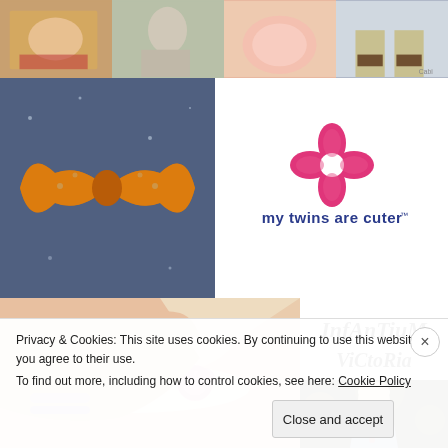[Figure (photo): Top row of four fashion/product photos: woman with sparkly dress, woman in feathery outfit, pink knitted item, legs with shoes]
[Figure (photo): Orange satin bow tie on glittery background]
[Figure (logo): My twins are cuter logo - pink flower/clover symbol above text 'my twins are cuter']
[Figure (photo): Woman wearing white straw hat with pink flower, wearing floral bracelet]
[Figure (logo): Infantium Victoria logo in hand-drawn black lettering]
[Figure (photo): Child in floral dress against dark background]
Privacy & Cookies: This site uses cookies. By continuing to use this website, you agree to their use.
To find out more, including how to control cookies, see here: Cookie Policy